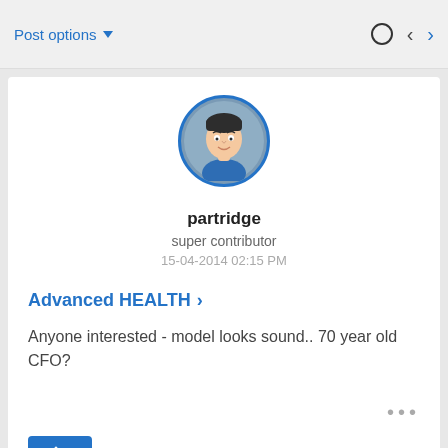Post options
[Figure (illustration): Avatar of user partridge — cartoon avatar of a person with dark hair, circular blue-bordered profile image]
partridge
super contributor
15-04-2014 02:15 PM
Advanced HEALTH >
Anyone interested - model looks sound.. 70 year old CFO?